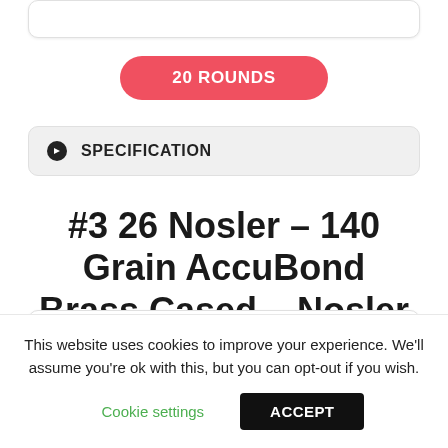20 ROUNDS
SPECIFICATION
#3 26 Nosler – 140 Grain AccuBond Brass Cased – Nosler
This website uses cookies to improve your experience. We'll assume you're ok with this, but you can opt-out if you wish.
Cookie settings
ACCEPT